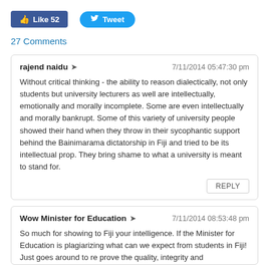[Figure (screenshot): Social media buttons: Facebook Like (52) and Twitter Tweet]
27 Comments
rajend naidu → 7/11/2014 05:47:30 pm
Without critical thinking - the ability to reason dialectically, not only students but university lecturers as well are intellectually, emotionally and morally incomplete. Some are even intellectually and morally bankrupt. Some of this variety of university people showed their hand when they throw in their sycophantic support behind the Bainimarama dictatorship in Fiji and tried to be its intellectual prop. They bring shame to what a university is meant to stand for.
REPLY
Wow Minister for Education → 7/11/2014 08:53:48 pm
So much for showing to Fiji your intelligence. If the Minister for Education is plagiarizing what can we expect from students in Fiji! Just goes around to re prove the quality, integrity and